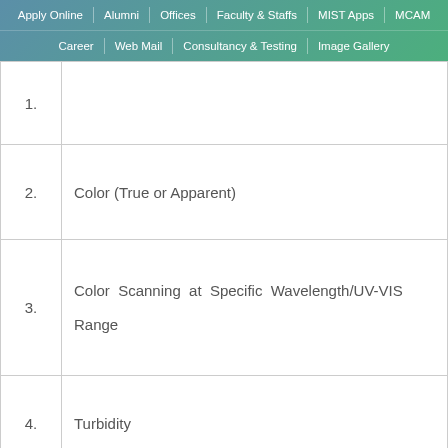Apply Online | Alumni | Offices | Faculty & Staffs | MIST Apps | MCAM | Career | Web Mail | Consultancy & Testing | Image Gallery
| 1. |  |
| 2. | Color (True or Apparent) |
| 3. | Color Scanning at Specific Wavelength/UV-VIS Range |
| 4. | Turbidity |
| 5. | Carbon-di-Oxide (CO2)/Acidity |
|  |  |